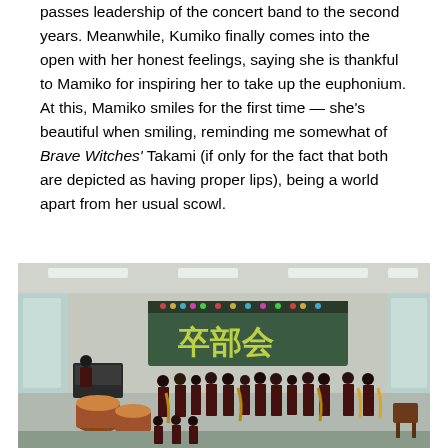passes leadership of the concert band to the second years. Meanwhile, Kumiko finally comes into the open with her honest feelings, saying she is thankful to Mamiko for inspiring her to take up the euphonium. At this, Mamiko smiles for the first time — she's beautiful when smiling, reminding me somewhat of Brave Witches' Takami (if only for the fact that both are depicted as having proper lips), being a world apart from her usual scowl.
[Figure (photo): Anime screenshot showing a school band/club room with many uniformed students holding various instruments including saxophones, and large drums in the foreground. A decorative banner with Japanese characters hangs at the back of the room. Fluorescent lights illuminate the scene.]